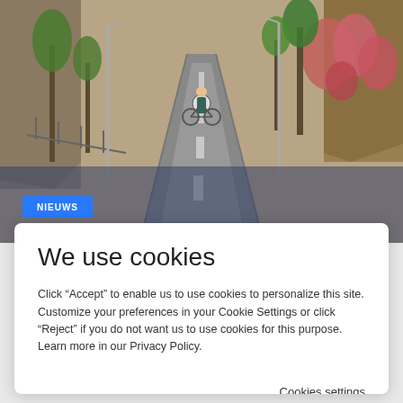[Figure (photo): A person cycling on a road flanked by palm trees, flowering oleander bushes, rocky cliffs, and greenery. A blue 'NIEUWS' badge is overlaid at bottom-left of the photo.]
We use cookies
Click “Accept” to enable us to use cookies to personalize this site. Customize your preferences in your Cookie Settings or click “Reject” if you do not want us to use cookies for this purpose. Learn more in our Privacy Policy.
Cookies settings
Reject
Accept All